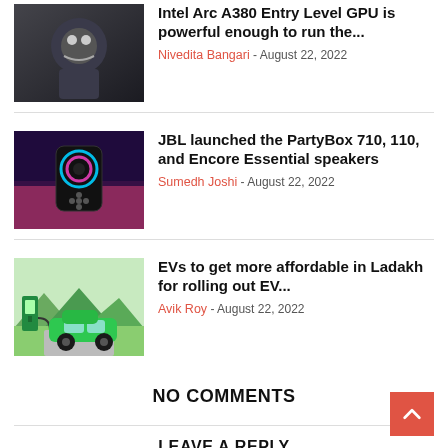[Figure (photo): Dark sci-fi / gaming character image]
Intel Arc A380 Entry Level GPU is powerful enough to run the...
Nivedita Bangari - August 22, 2022
[Figure (photo): JBL PartyBox speakers with colorful LED lighting]
JBL launched the PartyBox 710, 110, and Encore Essential speakers
Sumedh Joshi - August 22, 2022
[Figure (illustration): Green electric car at charging station illustration]
EVs to get more affordable in Ladakh for rolling out EV...
Avik Roy - August 22, 2022
NO COMMENTS
LEAVE A REPLY